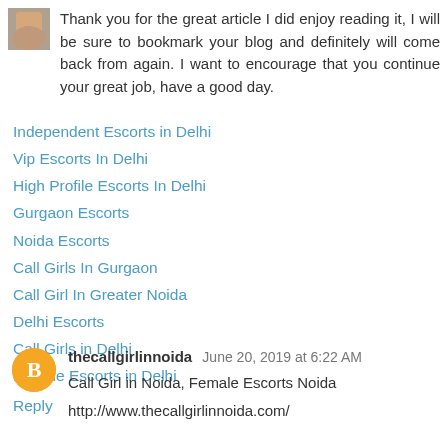[Figure (photo): Small avatar image at top left, appears to be a person's photo thumbnail]
Thank you for the great article I did enjoy reading it, I will be sure to bookmark your blog and definitely will come back from again. I want to encourage that you continue your great job, have a good day.
Independent Escorts in Delhi
Vip Escorts In Delhi
High Profile Escorts In Delhi
Gurgaon Escorts
Noida Escorts
Call Girls In Gurgaon
Call Girl In Greater Noida
Delhi Escorts
Call Girls in Delhi
Female Escorts in Delhi
Reply
[Figure (logo): Orange circular avatar with white blogger 'B' icon]
thecallgirlinnoida June 20, 2019 at 6:22 AM
Call Girl in Noida, Female Escorts Noida
http://www.thecallgirlinnoida.com/